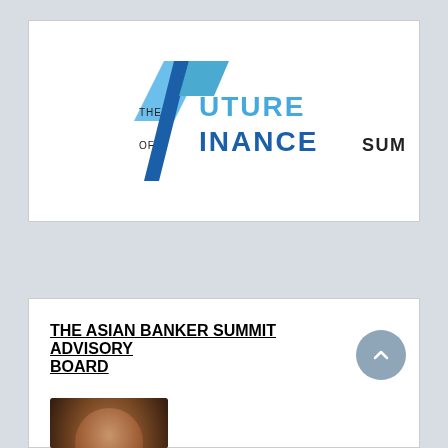[Figure (logo): The Future of Finance Summit logo with stylized F letterform in blue and dark blue gradient, with text 'THE FUTURE OF FINANCE SUMMIT']
THE ASIAN BANKER SUMMIT ADVISORY BOARD
[Figure (photo): Portrait photo of a person, partially visible at the bottom of the page]